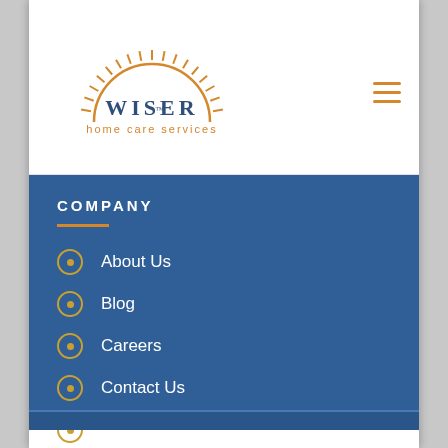[Figure (logo): Wiser Home Care Services logo with sun rays and arc, company name in navy blue, tagline in gold]
COMPANY
About Us
Blog
Careers
Contact Us
Testimonials